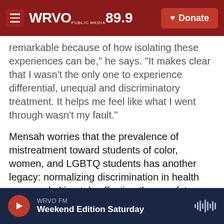WRVO PUBLIC MEDIA 89.9 | Donate
remarkable because of how isolating these experiences can be," he says. "It makes clear that I wasn't the only one to experience differential, unequal and discriminatory treatment. It helps me feel like what I went through wasn't my fault."
Mensah worries that the prevalence of mistreatment toward students of color, women, and LGBTQ students has another legacy: normalizing discrimination in health care, and ultimately affecting the way future doctors treat their patients.
"There's a direct link between this abuse and how
WRVO FM | Weekend Edition Saturday